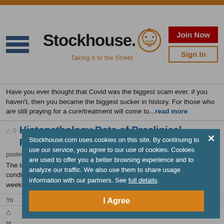[Figure (logo): Stockhouse logo with hamburger menu, robot head icon, tagline 'Taking it to the Street.', Join Now button and Sign In button]
Have you ever thought that Covid was the biggest scam ever. if you haven't, then you became the biggest sucker in history. For those who are still praying for a cure/treatment will come to...read more
Histopathology Data of Preclinical Repeated Dose Toxicity
posted July 12, 2022 10:29 am  by  AveragePenny ▼ (42)
The toxicology study was carried out under regulatory-compliant GLP conditions with animals receiving three intravenous injections at one-week intervals with either PolyTone® TATX-03 or placebo ...read more
Stockhouse.com uses cookies on this site. By continuing to use our service, you agree to our use of cookies. Cookies are used to offer you a better browsing experience and to analyze our traffic. We also use them to share usage information with our partners. See full details.